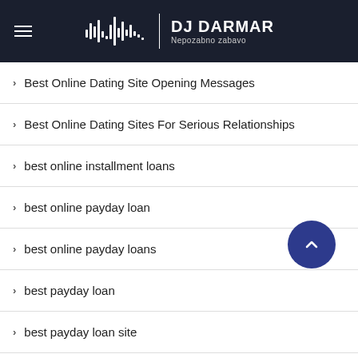DJ DARMAR — Nepozabno zabavo
Best Online Dating Site Opening Messages
Best Online Dating Sites For Serious Relationships
best online installment loans
best online payday loan
best online payday loans
best payday loan
best payday loan site